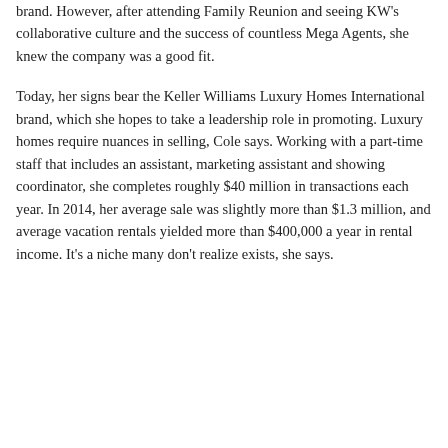brand. However, after attending Family Reunion and seeing KW's collaborative culture and the success of countless Mega Agents, she knew the company was a good fit.
Today, her signs bear the Keller Williams Luxury Homes International brand, which she hopes to take a leadership role in promoting. Luxury homes require nuances in selling, Cole says. Working with a part-time staff that includes an assistant, marketing assistant and showing coordinator, she completes roughly $40 million in transactions each year. In 2014, her average sale was slightly more than $1.3 million, and average vacation rentals yielded more than $400,000 a year in rental income. It's a niche many don't realize exists, she says.